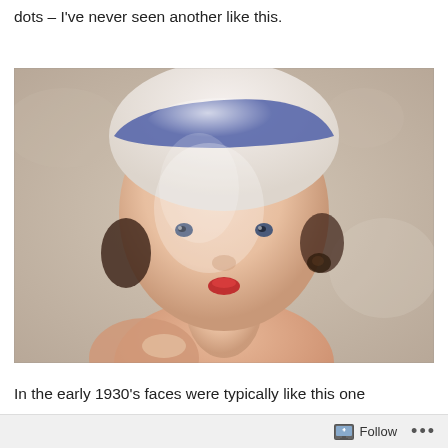dots – I've never seen another like this.
[Figure (photo): Close-up photo of a small ceramic figurine head. The figurine has a pale, pinkish face with painted blue eyes, small red lips, dark hair/earrings, and wears a white hat with a blue stripe/band around it. A human finger/thumb is visible holding the figurine from below. Background is a light beige/tan surface.]
In the early 1930's faces were typically like this one
Follow ...